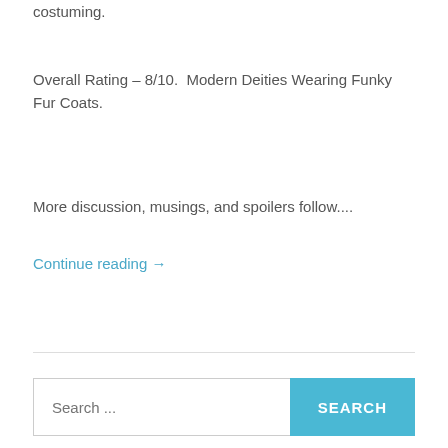costuming.
Overall Rating – 8/10.  Modern Deities Wearing Funky Fur Coats.
More discussion, musings, and spoilers follow....
Continue reading →